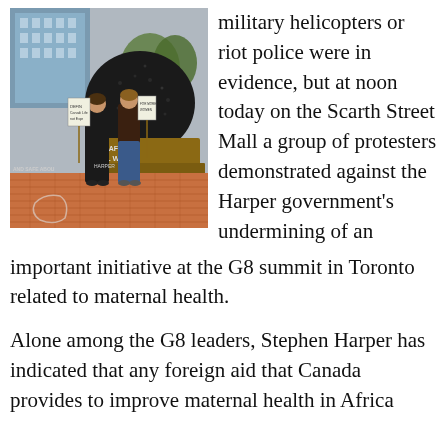[Figure (photo): Two women protesters standing in front of a large dark sculpture on a brick plaza. They hold protest signs. Graffiti visible on the sculpture base reading 'UNSAFE ABBO KILL' and 'HARPER'. Chalk outline on ground.]
military helicopters or riot police were in evidence, but at noon today on the Scarth Street Mall a group of protesters demonstrated against the Harper government's undermining of an important initiative at the G8 summit in Toronto related to maternal health.
Alone among the G8 leaders, Stephen Harper has indicated that any foreign aid that Canada provides to improve maternal health in Africa